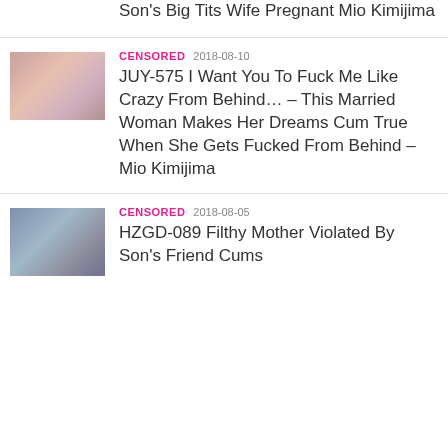Son's Big Tits Wife Pregnant Mio Kimijima
CENSORED 2018-08-10
JUY-575 I Want You To Fuck Me Like Crazy From Behind… – This Married Woman Makes Her Dreams Cum True When She Gets Fucked From Behind – Mio Kimijima
CENSORED 2018-08-05
HZGD-089 Filthy Mother Violated By Son's Friend Cums